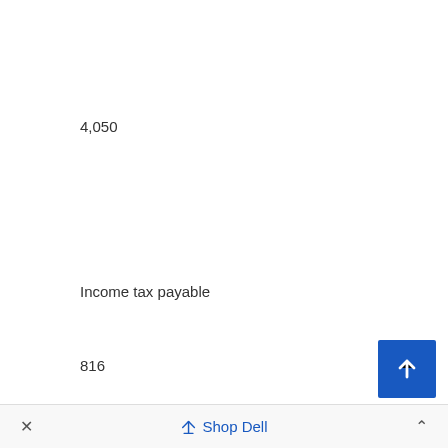4,050
Income tax payable
816
817
Operating lease liabilities
× Shop Dell ˄